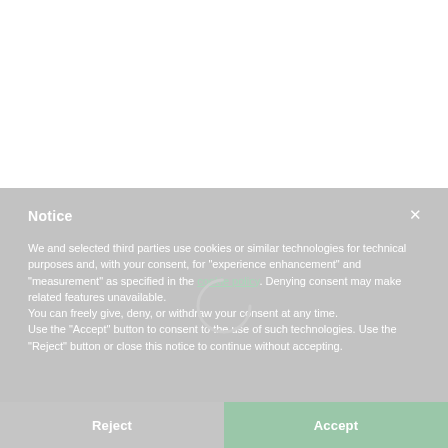Notice
We and selected third parties use cookies or similar technologies for technical purposes and, with your consent, for "experience enhancement" and "measurement" as specified in the cookie policy. Denying consent may make related features unavailable.
You can freely give, deny, or withdraw your consent at any time.
Use the "Accept" button to consent to the use of such technologies. Use the "Reject" button or close this notice to continue without accepting.
[Figure (other): Loading spinner circle overlay in the center of the modal dialog]
Reject
Accept